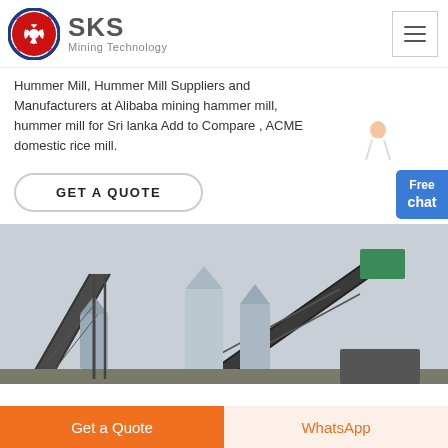SKS Mining Technology
Hummer Mill, Hummer Mill Suppliers and Manufacturers at Alibaba mining hammer mill, hummer mill for Sri lanka Add to Compare , ACME domestic rice mill.
GET A QUOTE
[Figure (photo): Industrial mining equipment with conveyor belts, silos and structural steel framework]
Get a Quote
WhatsApp